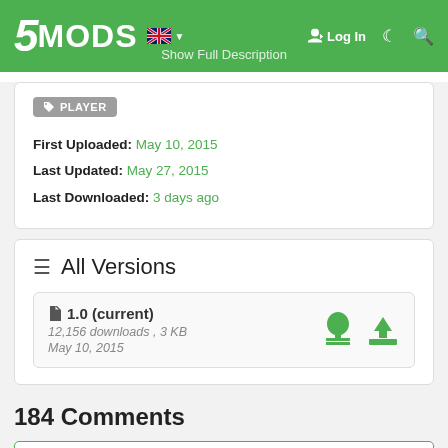5MODS | Log In | Show Full Description
PLAYER
First Uploaded: May 10, 2015
Last Updated: May 27, 2015
Last Downloaded: 3 days ago
All Versions
1.0 (current)
12,156 downloads , 3 KB
May 10, 2015
184 Comments
Show previous 20 comments